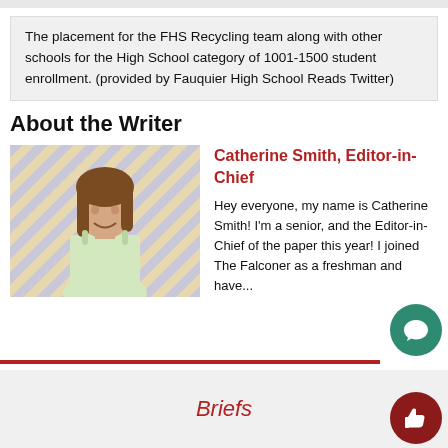The placement for the FHS Recycling team along with other schools for the High School category of 1001-1500 student enrollment. (provided by Fauquier High School Reads Twitter)
About the Writer
[Figure (photo): Photo of Catherine Smith, a young woman in a light green dress standing in front of a diagonal striped background]
Catherine Smith, Editor-in-Chief
Hey everyone, my name is Catherine Smith! I'm a senior, and the Editor-in-Chief of the paper this year! I joined The Falconer as a freshman and have...
Briefs